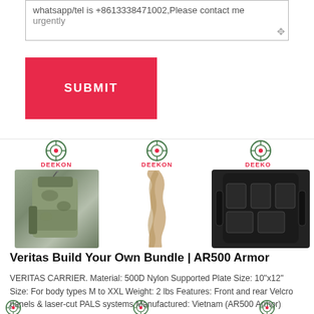whatsapp/tel is +8613338471002,Please contact me urgently
[Figure (screenshot): Red SUBMIT button on a form page]
[Figure (photo): Three product images with DEEKON logos: military pouch in camouflage, tan scarf/wrap, and black tactical vest]
Veritas Build Your Own Bundle | AR500 Armor
VERITAS CARRIER. Material: 500D Nylon Supported Plate Size: 10"x12" Size: For body types M to XXL Weight: 2 lbs Features: Front and rear Velcro panels & laser-cut PALS systems Manufactured: Vietnam (AR500 Armor) LEVEL 3 BODY ...
[Figure (photo): Three more product images with DEEKON logos (partially visible at bottom)]